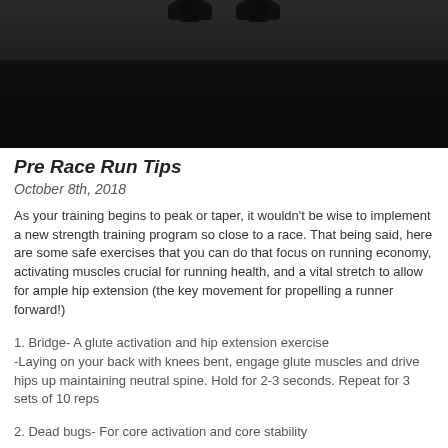[Figure (photo): Photo of a runner's feet/shoes on a dark floor, shot from above]
Pre Race Run Tips
October 8th, 2018
As your training begins to peak or taper, it wouldn't be wise to implement a new strength training program so close to a race. That being said, here are some safe exercises that you can do that focus on running economy, activating muscles crucial for running health, and a vital stretch to allow for ample hip extension (the key movement for propelling a runner forward!)
1. Bridge- A glute activation and hip extension exercise
-Laying on your back with knees bent, engage glute muscles and drive hips up maintaining neutral spine. Hold for 2-3 seconds. Repeat for 3 sets of 10 reps
2. Dead bugs- For core activation and core stability